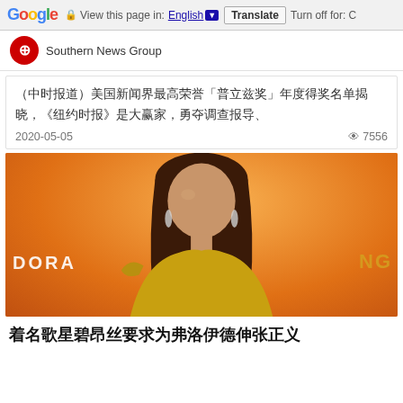Google  View this page in: English ▼  Translate  Turn off for: C
Southern News Group
（中时报道）美国新闻界最高荣誉「普立兹奖」年度得奖名单揭晓，《纽约时报》是大赢家，勇夺调查报导、
2020-05-05    👁 7556
[Figure (photo): Photo of a female celebrity (Beyoncé) in a gold dress against an orange background with PANDORA and KING text visible]
着名歌星碧昂丝要求为弗洛伊德伸张正义